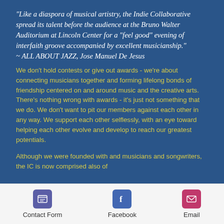"Like a diaspora of musical artistry, the Indie Collaborative spread its talent before the audience at the Bruno Walter Auditorium at Lincoln Center for a "feel good" evening of interfaith groove accompanied by excellent musicianship." ~ ALL ABOUT JAZZ, Jose Manuel De Jesus
We don't hold contests or give out awards - we're about connecting musicians together and forming lifelong bonds of friendship centered on and around music and the creative arts. There's nothing wrong with awards - it's just not something that we do. We don't want to pit our members against each other in any way. We support each other selflessly, with an eye toward helping each other evolve and develop to reach our greatest potentials.
Although we were founded with and musicians and songwriters, the IC is now comprised also of
Contact Form   Facebook   Email